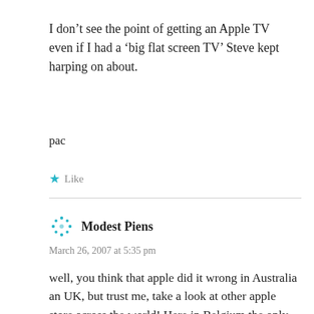I don't see the point of getting an Apple TV even if I had a ‘big flat screen TV’ Steve kept harping on about.
pac
★ Like
Modest Piens
March 26, 2007 at 5:35 pm
well, you think that apple did it wrong in Australia an UK, but trust me, take a look at other apple store across the world! Here in Belgium the only thing we can download are